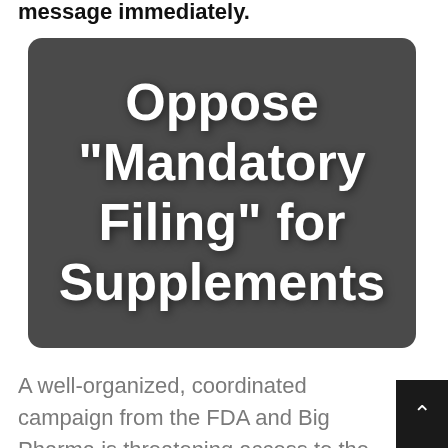message immediately.
[Figure (other): Dark gray rounded rectangle banner with large bold white text reading: Oppose "Mandatory Filing" for Supplements]
A well-organized, coordinated campaign from the FDA and Big Pharma is threatening access to the supplements you depend on. Using